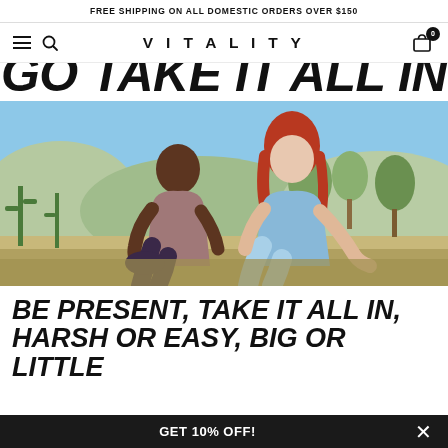FREE SHIPPING ON ALL DOMESTIC ORDERS OVER $150
VITALITY
GO TAKE IT ALL IN
[Figure (photo): Two women sitting back-to-back outdoors in athletic wear (sports bras and leggings) against a desert landscape with cacti and trees. One woman is dark-skinned and bald in mauve/brown tones; the other is fair-skinned with red hair in light blue.]
BE PRESENT, TAKE IT ALL IN, HARSH OR EASY, BIG OR LITTLE
GET 10% OFF!